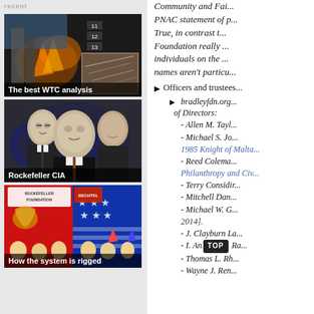recent
[Figure (screenshot): Video thumbnail showing WTC collapse / destruction imagery with numbered overlay boxes (11, 12, 13) in upper right. Caption: 'The best WTC analysis']
[Figure (photo): Black and white photograph of three men, appearing to be intelligence/political figures, with 'CIA' text visible in background. Caption: 'Rockefeller CIA']
[Figure (illustration): Political illustration showing Rockefeller Foundation and Bechtel logos over patriotic American imagery with caricatures of politicians. Caption: 'How the system is rigged']
Community and Fa... PNAC statement of p... True, in contrast t... Foundation really ... individuals on the ... names aren't particu...
Officers and trustees...
bradleyfdn.org ... of Directors:
- Allen M. Tayl...
- Michael S. Jo...
1985 Knight of Malta...
- Reed Colema...
Philanthropy and Civ...
- Terry Considir...
- Mitchell Dan...
- Michael W. G...
2014].
- J. Clayburn La...
- I. An... Ra...
- Thomas L. Rh...
- Wayne J. Ren...